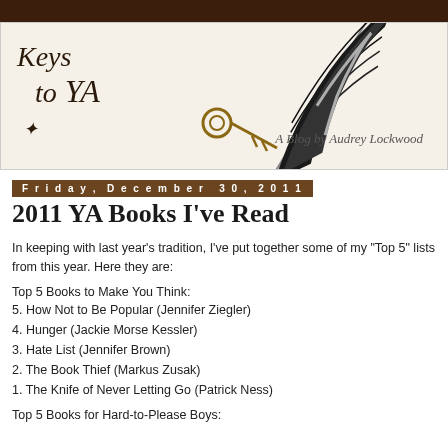[Figure (illustration): Blog header banner for 'Keys to YA - A Blog by Audrey Lockwood' featuring handwritten-style text, a decorative key illustration, and a large black feather/quill against a light beige background.]
Friday, December 30, 2011
2011 YA Books I've Read
In keeping with last year's tradition, I've put together some of my "Top 5" lists from this year. Here they are:
Top 5 Books to Make You Think:
5. How Not to Be Popular (Jennifer Ziegler)
4. Hunger (Jackie Morse Kessler)
3. Hate List (Jennifer Brown)
2. The Book Thief (Markus Zusak)
1. The Knife of Never Letting Go (Patrick Ness)
Top 5 Books for Hard-to-Please Boys: